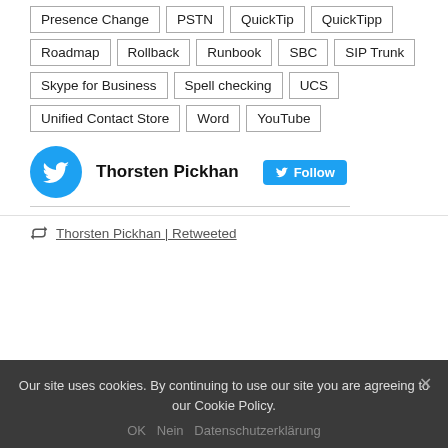Presence Change
PSTN
QuickTip
QuickTipp
Roadmap
Rollback
Runbook
SBC
SIP Trunk
Skype for Business
Spell checking
UCS
Unified Contact Store
Word
YouTube
Thorsten Pickhan
Follow
Thorsten Pickhan | Retweeted
Our site uses cookies. By continuing to use our site you are agreeing to our Cookie Policy.
OK   Nein   Datenschutzerklärung